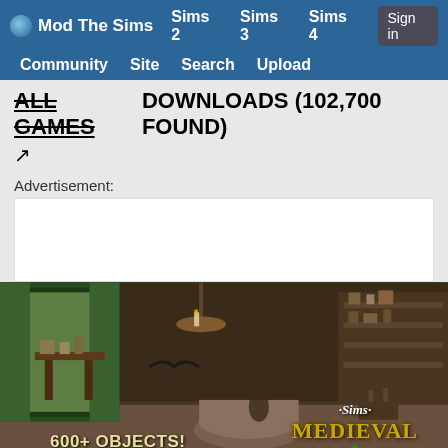Mod The Sims | Sims 2 | Sims 3 | Sims 4 | Sign in | Community | Site | Search | Upload
ALL GAMES DOWNLOADS (102,700 FOUND)
Advertisement:
[Figure (screenshot): The Sims Medieval advertisement showing a medieval room scene with text '600+ OBJECTS!' and The Sims Medieval logo]
Ad